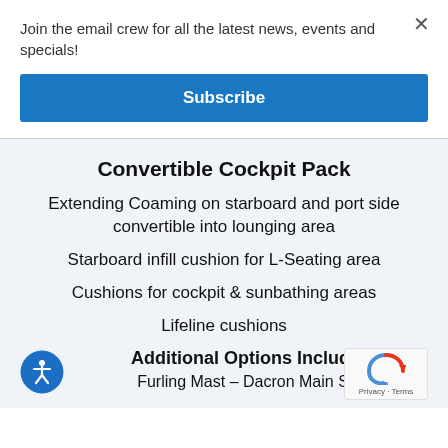Join the email crew for all the latest news, events and specials!
Subscribe
Convertible Cockpit Pack
Extending Coaming on starboard and port side convertible into lounging area
Starboard infill cushion for L-Seating area
Cushions for cockpit & sunbathing areas
Lifeline cushions
Additional Options Included
Furling Mast – Dacron Main Sail